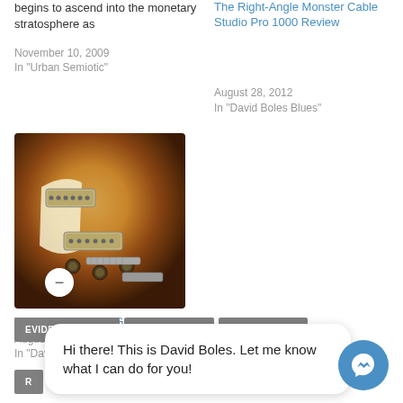begins to ascend into the monetary stratosphere as
November 10, 2009
In "Urban Semiotic"
The Right-Angle Monster Cable Studio Pro 1000 Review
August 28, 2012
In "David Boles Blues"
[Figure (photo): Photo of a sunburst Les Paul style electric guitar body showing pickups, knobs, and bridge]
The Perfect Blues Guitar Rig
August 23, 2010
In "David Boles Blues"
EVIDENCE AUDIO
FORTE CABLE
RIGHT-ANGLE
Hi there! This is David Boles. Let me know what I can do for you!